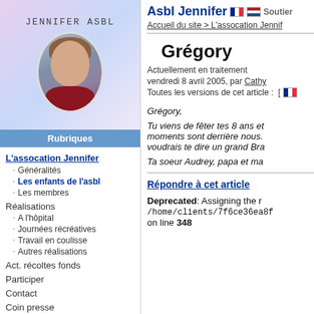[Figure (photo): Portrait photo of a young girl with handwritten-style text 'JENNIFER ASBL' above, on a purple-blue gradient background]
Rubriques
L'assocation Jennifer
Généralités
Les enfants de l'asbl
Les membres
Réalisations
A l'hôpital
Journées récréatives
Travail en coulisse
Autres réalisations
Act. récoltes fonds
Participer
Contact
Coin presse
Liens
Dans la même rubrique
Jennifer
Asbl Jennifer 🇫🇷 🇳🇱 Soutien
Accueil du site > L'assocation Jennif...
Grégory
Actuellement en traitement
vendredi 8 avril 2005, par Cathy
Toutes les versions de cet article :
Grégory,
Tu viens de fêter tes 8 ans et moments sont derrière nous. voudrais te dire un grand Bra
Ta soeur Audrey, papa et ma...
Répondre à cet article
Deprecated: Assigning the r /home/clients/7f6ce36ea8f on line 348